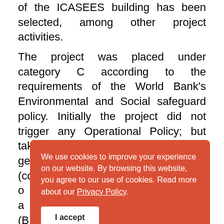of the ICASEES building has been selected, among other project activities. The project was placed under category C according to the requirements of the World Bank's Environmental and Social safeguard policy. Initially the project did not trigger any Operational Policy; but taking into account the impacts generated by the extension of works (construction of ... accordance with the requirements of the World
We use cookies to improve your experience on our website. By browsing this website, you agree to our use of cookies. Read more about our Privacy Policy. I accept